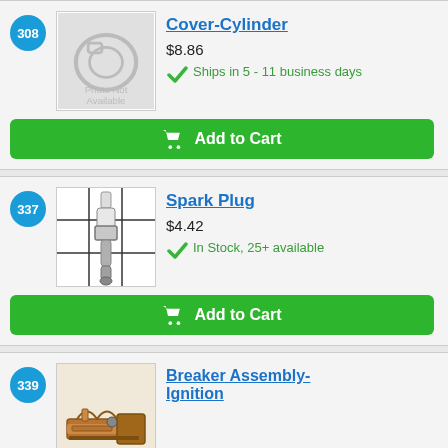308
[Figure (photo): Photo Not Available placeholder image with camera icon]
Cover-Cylinder
$8.86
Ships in 5 - 11 business days
Add to Cart
337
[Figure (photo): Spark plug photo on grid background]
Spark Plug
$4.42
In Stock, 25+ available
Add to Cart
339
[Figure (photo): Breaker Assembly-Ignition part photo]
Breaker Assembly-Ignition